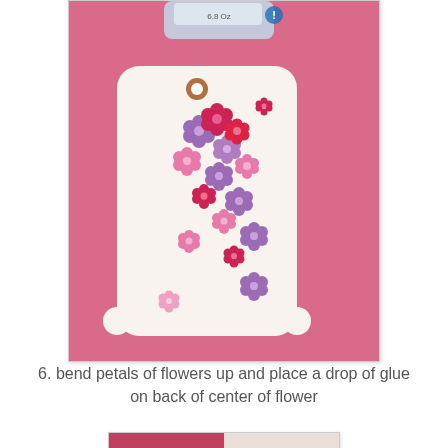[Figure (photo): A white decorative gift tag covered with small pink, red, and purple paper flowers, placed on a pink surface with a glue container visible at the top.]
6.  bend petals of flowers up and place a drop of glue on back of center of flower
[Figure (photo): Close-up photo showing pink and purple paper flowers being placed on a surface, partial view.]